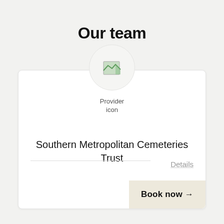Our team
[Figure (logo): Provider icon placeholder image inside a circular grey background]
Southern Metropolitan Cemeteries Trust
Details
Book now →